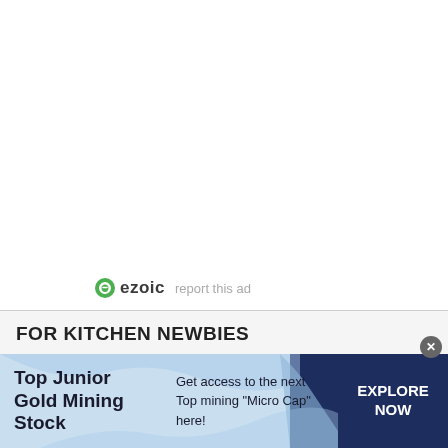[Figure (logo): Ezoic logo with green circle icon and 'ezoic' text, followed by 'report this ad' link]
FOR KITCHEN NEWBIES ▼
Indian Grocery list
Kitchen Utensils list with PDF
Kitchen appliances list with brands
Biryani spices names
[Figure (infographic): Advertisement banner: Top Junior Gold Mining Stock - Get access to the next Top mining 'Micro Cap' here! - EXPLORE NOW button]